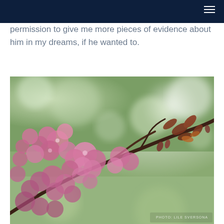permission to give me more pieces of evidence about him in my dreams, if he wanted to.
[Figure (photo): Close-up photograph of pink cherry blossoms with reddish-brown leaves on a branch, with a soft blurred green bokeh background. Watermark text visible in lower right corner.]